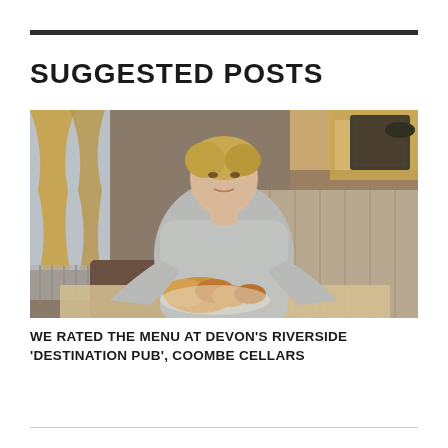SUGGESTED POSTS
[Figure (photo): A woman in a grey ribbed long-sleeve top sitting at a table in a pub/restaurant interior, holding or presenting a plate of food (bread rolls/baked goods). In the background are curtains, wooden paneling, and pub furniture.]
WE RATED THE MENU AT DEVON'S RIVERSIDE 'DESTINATION PUB', COOMBE CELLARS